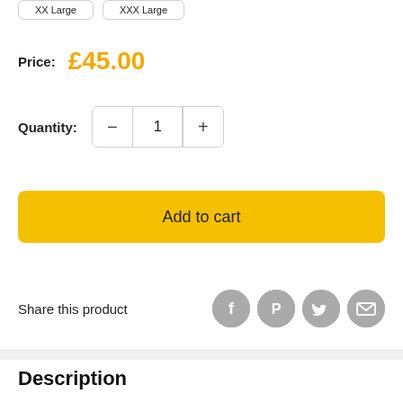XX Large
XXX Large
Price: £45.00
Quantity: 1
Add to cart
Share this product
Description